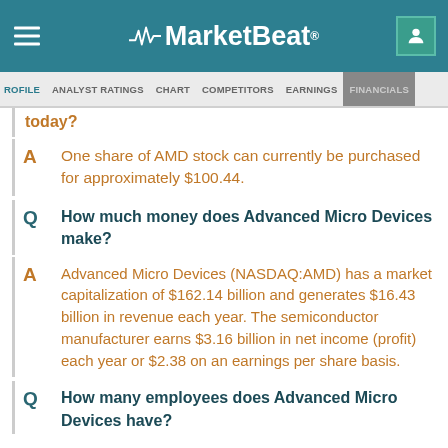MarketBeat
PROFILE  ANALYST RATINGS  CHART  COMPETITORS  EARNINGS  FINANCIALS
today?
A  One share of AMD stock can currently be purchased for approximately $100.44.
Q  How much money does Advanced Micro Devices make?
A  Advanced Micro Devices (NASDAQ:AMD) has a market capitalization of $162.14 billion and generates $16.43 billion in revenue each year. The semiconductor manufacturer earns $3.16 billion in net income (profit) each year or $2.38 on an earnings per share basis.
Q  How many employees does Advanced Micro Devices have?